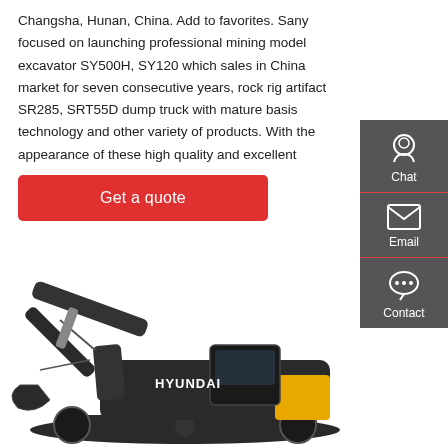Changsha, Hunan, China. Add to favorites. Sany focused on launching professional mining model excavator SY500H, SY120 which sales in China market for seven consecutive years, rock rig artifact SR285, SRT55D dump truck with mature basis technology and other variety of products. With the appearance of these high quality and excellent
Get a quote
[Figure (screenshot): Sidebar with Chat, Email, and Contact icons on dark grey background]
[Figure (photo): Hyundai excavator, dark grey and yellow, side view on white background]